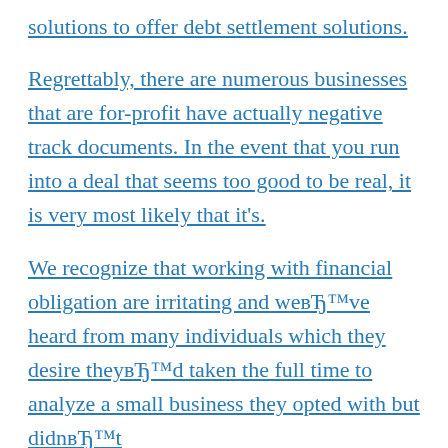solutions to offer debt settlement solutions. Regrettably, there are numerous businesses that are for-profit have actually negative track documents. In the event that you run into a deal that seems too good to be real, it is very most likely that it's.
We recognize that working with financial obligation are irritating and weвЂ™ve heard from many individuals which they desire theyвЂ™d taken the full time to analyze a small business they opted with but didnвЂ™t